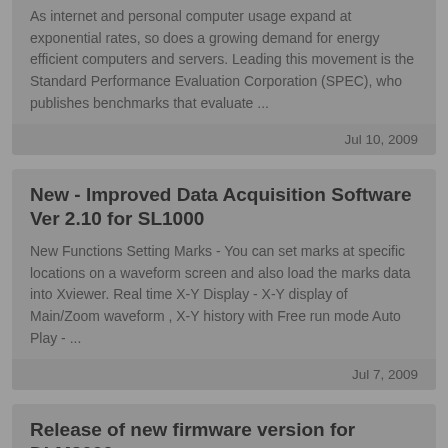As internet and personal computer usage expand at exponential rates, so does a growing demand for energy efficient computers and servers. Leading this movement is the Standard Performance Evaluation Corporation (SPEC), who publishes benchmarks that evaluate ...
Jul 10, 2009
New - Improved Data Acquisition Software Ver 2.10 for SL1000
New Functions Setting Marks - You can set marks at specific locations on a waveform screen and also load the marks data into Xviewer. Real time X-Y Display - X-Y display of Main/Zoom waveform , X-Y history with Free run mode Auto Play - ...
Jul 7, 2009
Release of new firmware version for DLM2000
Release of new firmware version 1.03 for DLM2000